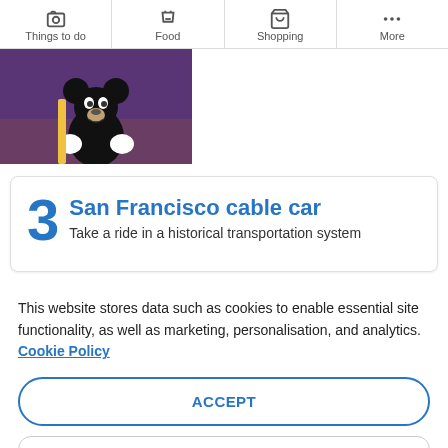Things to do | Food | Shopping | More
[Figure (photo): Mickey Mouse figurine holding something, against a purple/brick background]
3 San Francisco cable car
Take a ride in a historical transportation system
This website stores data such as cookies to enable essential site functionality, as well as marketing, personalisation, and analytics. Cookie Policy
ACCEPT